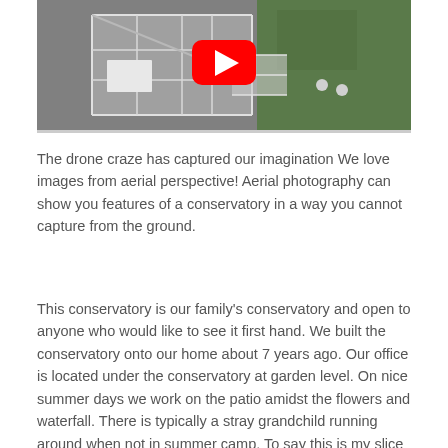[Figure (screenshot): Aerial drone photograph of a glass conservatory structure viewed from above, with green grass visible. A YouTube play button overlay is shown in the center.]
The drone craze has captured our imagination We love images from aerial perspective! Aerial photography can show you features of a conservatory in a way you cannot capture from the ground.
This conservatory is our family's conservatory and open to anyone who would like to see it first hand. We built the conservatory onto our home about 7 years ago. Our office is located under the conservatory at garden level. On nice summer days we work on the patio amidst the flowers and waterfall. There is typically a stray grandchild running around when not in summer camp. To say this is my slice of